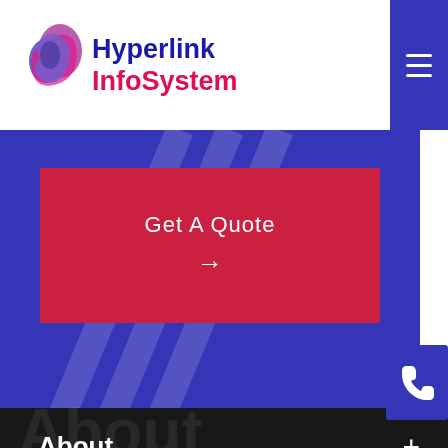[Figure (logo): Hyperlink InfoSystem logo with stylized S-shaped icon in pink/purple and company name in blue and red]
[Figure (screenshot): Hamburger/menu icon (three horizontal white lines) on purple background]
[Figure (screenshot): Blue banner section with red 'Get A Quote' button and right arrow]
[Figure (screenshot): Phone icon on purple background, right side]
About +
Mobile +
W[eb] +
Ecommerce +
[Figure (logo): WhatsApp green circular button with phone handset icon]
[Figure (illustration): Red circle scroll-to-top button with upward arrow]